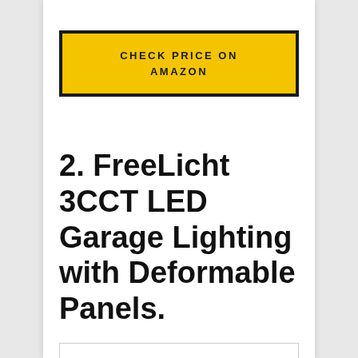[Figure (other): Yellow button with black border reading CHECK PRICE ON AMAZON in bold uppercase letters]
2. FreeLicht 3CCT LED Garage Lighting with Deformable Panels.